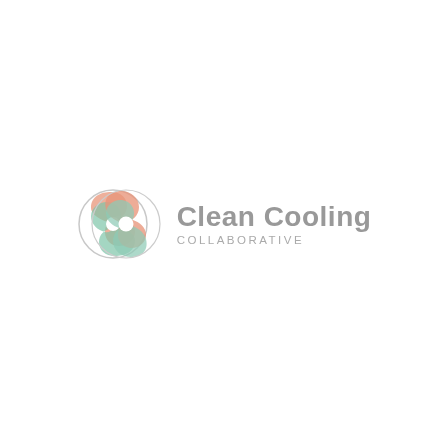[Figure (logo): Clean Cooling Collaborative logo: a circular swirl icon with salmon/coral and mint green interlocking shapes with a white circle center, next to the text 'Clean Cooling' in bold gray and 'COLLABORATIVE' in light gray spaced capitals beneath]